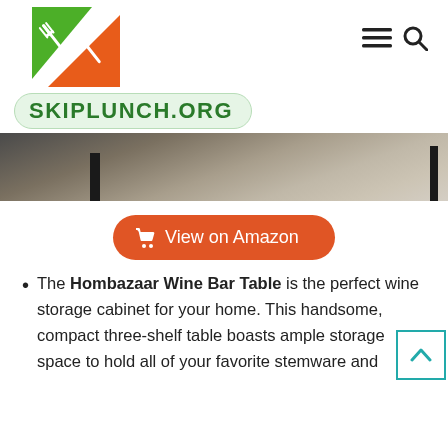[Figure (logo): Skiplunch.org logo with fork and spoon icon on green/orange background and green text on light green pill-shaped box]
[Figure (photo): Bottom portion of a wine bar table on a light wood floor, showing dark metal legs]
[Figure (other): Orange rounded button with shopping cart icon reading 'View on Amazon']
The Hombazaar Wine Bar Table is the perfect wine storage cabinet for your home. This handsome, compact three-shelf table boasts ample storage space to hold all of your favorite stemware and...